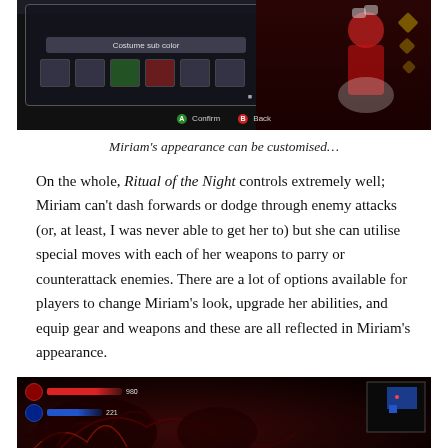[Figure (screenshot): Game screenshot showing costume sub color customization menu with character wearing red and white outfit on right side. Bottom shows A: Confirm and B: Back buttons.]
Miriam’s appearance can be customised…
On the whole, Ritual of the Night controls extremely well; Miriam can’t dash forwards or dodge through enemy attacks (or, at least, I was never able to get her to) but she can utilise special moves with each of her weapons to parry or counterattack enemies. There are a lot of options available for players to change Miriam’s look, upgrade her abilities, and equip gear and weapons and these are all reflected in Miriam’s appearance.
[Figure (screenshot): Game screenshot showing combat scene with dark demonic creatures and a minimap in the top-right corner showing blue room layout.]